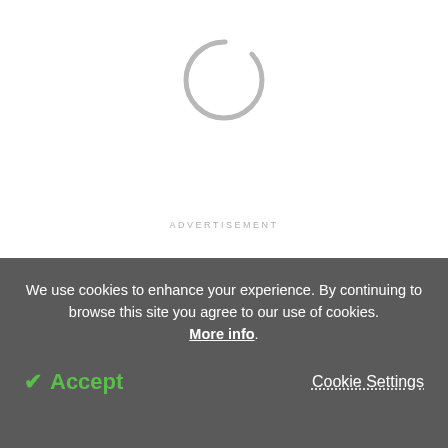[Figure (other): Loading spinner circle icon, grey ring, partially open at top-right]
ADVERTISEMENT
"If I'm a cell and I don't get these signals that says, 'I'm cleaning up damaged mitochondria,' and I keep dividing," Pickrell said, "now I'm dividing and my bad
We use cookies to enhance your experience. By continuing to browse this site you agree to our use of cookies. More info.
✔ Accept
Cookie Settings